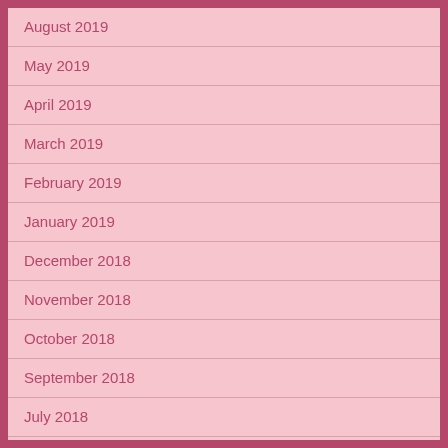August 2019
May 2019
April 2019
March 2019
February 2019
January 2019
December 2018
November 2018
October 2018
September 2018
July 2018
June 2018
May 2018
April 2018
March 2018